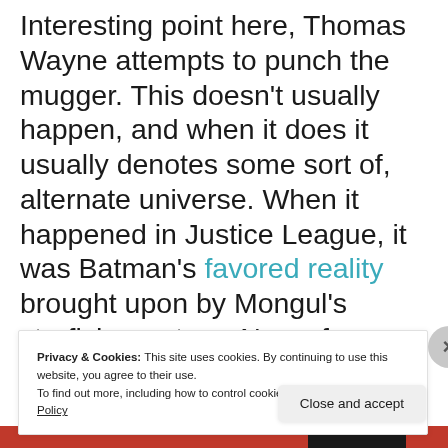Interesting point here, Thomas Wayne attempts to punch the mugger. This doesn't usually happen, and when it does it usually denotes some sort of, alternate universe. When it happened in Justice League, it was Batman's favored reality brought upon by Mongul's starfish creature. Now of course, this time he still loses, but this tiny change could be an indication of a fractured
Privacy & Cookies: This site uses cookies. By continuing to use this website, you agree to their use.
To find out more, including how to control cookies, see here: Cookie Policy
Close and accept